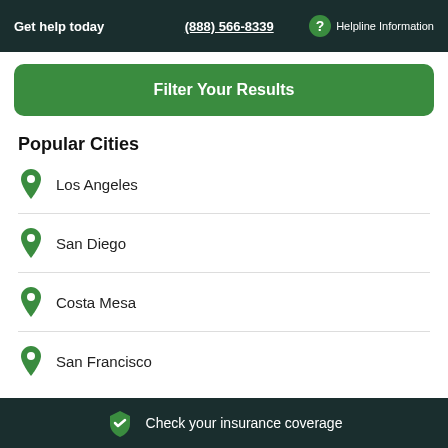Get help today | (888) 566-8339 | Helpline Information
Filter Your Results
Popular Cities
Los Angeles
San Diego
Costa Mesa
San Francisco
Check your insurance coverage